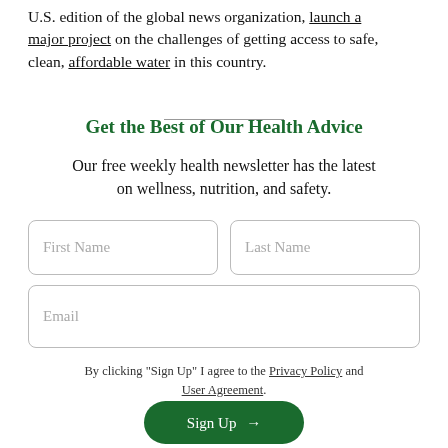U.S. edition of the global news organization, launch a major project on the challenges of getting access to safe, clean, affordable water in this country.
Get the Best of Our Health Advice
Our free weekly health newsletter has the latest on wellness, nutrition, and safety.
[Figure (other): Newsletter signup form with First Name, Last Name, and Email input fields]
By clicking "Sign Up" I agree to the Privacy Policy and User Agreement.